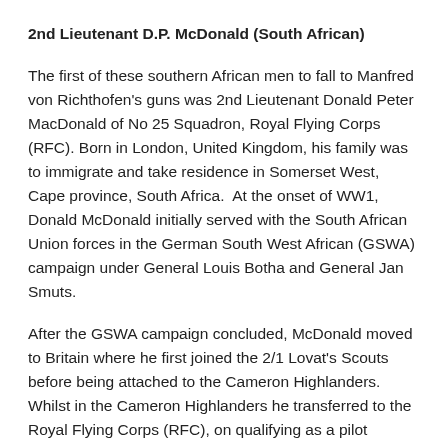2nd Lieutenant D.P. McDonald (South African)
The first of these southern African men to fall to Manfred von Richthofen's guns was 2nd Lieutenant Donald Peter MacDonald of No 25 Squadron, Royal Flying Corps (RFC). Born in London, United Kingdom, his family was to immigrate and take residence in Somerset West, Cape province, South Africa.  At the onset of WW1, Donald McDonald initially served with the South African Union forces in the German South West African (GSWA) campaign under General Louis Botha and General Jan Smuts.
After the GSWA campaign concluded, McDonald moved to Britain where he first joined the 2/1 Lovat's Scouts before being attached to the Cameron Highlanders.  Whilst in the Cameron Highlanders he transferred to the Royal Flying Corps (RFC), on qualifying as a pilot McDonald joined No 25 Squadron on the western front in France on the 23rd March 1917,
No 25 flew a Royal Aircraft Factory FE2, highly effective but by